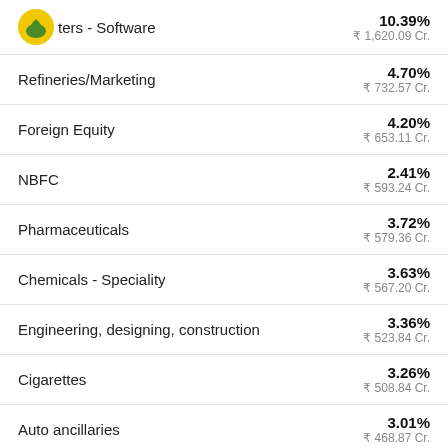Computers - Software | 10.39% | ₹ 1,620.09 Cr.
Refineries/Marketing | 4.70% | ₹ 732.57 Cr.
Foreign Equity | 4.20% | ₹ 653.11 Cr.
NBFC | 2.41% | ₹ 593.24 Cr.
Pharmaceuticals | 3.72% | ₹ 579.36 Cr.
Chemicals - Speciality | 3.63% | ₹ 567.20 Cr.
Engineering, designing, construction | 3.36% | ₹ 523.84 Cr.
Cigarettes | 3.26% | ₹ 508.84 Cr.
Auto ancillaries | 3.01% | ₹ 468.87 Cr.